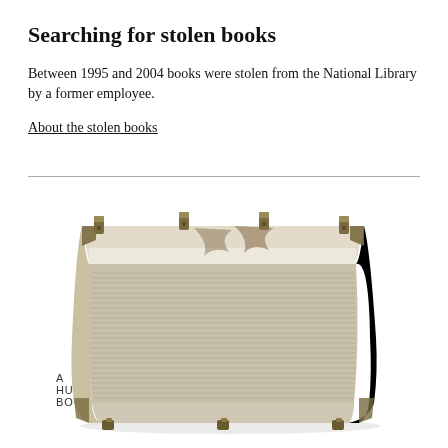Searching for stolen books
Between 1995 and 2004 books were stolen from the National Library by a former employee.
About the stolen books
A HUGE BOOK
[Figure (photo): A large antique book lying on its side, showing its thick spine and pages, with metal clasps/bosses on the cover. The book appears very old and heavy, with cream-colored covers and aged pages visible from the side.]